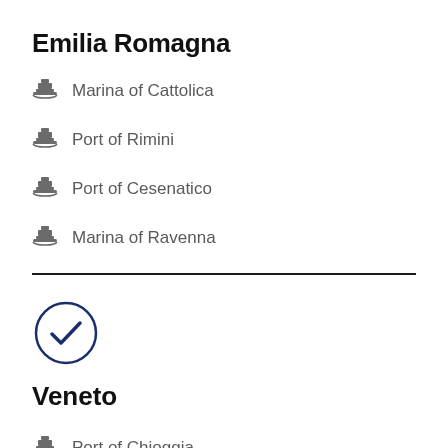Emilia Romagna
Marina of Cattolica
Port of Rimini
Port of Cesenatico
Marina of Ravenna
[Figure (illustration): Dark navy blue circle with a checkmark inside, indicating a completed or selected section]
Veneto
Port of Chioggia